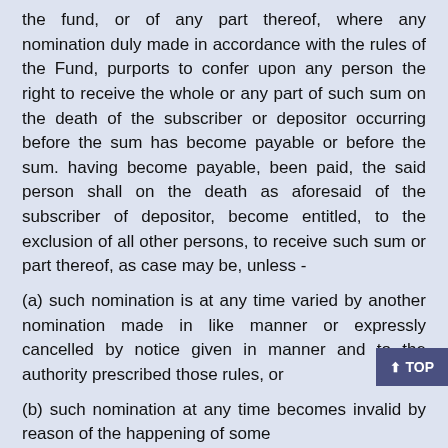the fund, or of any part thereof, where any nomination duly made in accordance with the rules of the Fund, purports to confer upon any person the right to receive the whole or any part of such sum on the death of the subscriber or depositor occurring before the sum has become payable or before the sum. having become payable, been paid, the said person shall on the death as aforesaid of the subscriber of depositor, become entitled, to the exclusion of all other persons, to receive such sum or part thereof, as case may be, unless -
(a) such nomination is at any time varied by another nomination made in like manner or expressly cancelled by notice given in manner and to the authority prescribed those rules, or
(b) such nomination at any time becomes invalid by reason of the happening of some